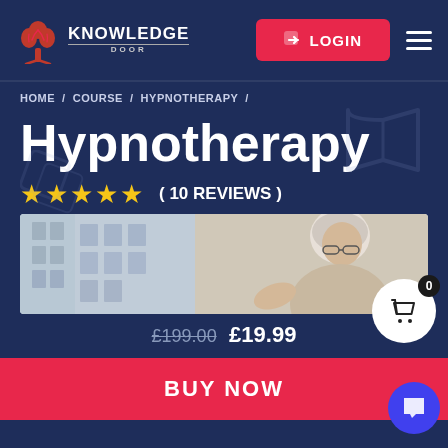KNOWLEDGE DOOR — LOGIN
HOME / COURSE / HYPNOTHERAPY /
Hypnotherapy
★★★★★  ( 10 REVIEWS )
[Figure (photo): An older woman with white/grey hair and glasses, sitting at a desk, viewed from the side in an office environment with blurred background.]
£199.00 £19.99
BUY NOW